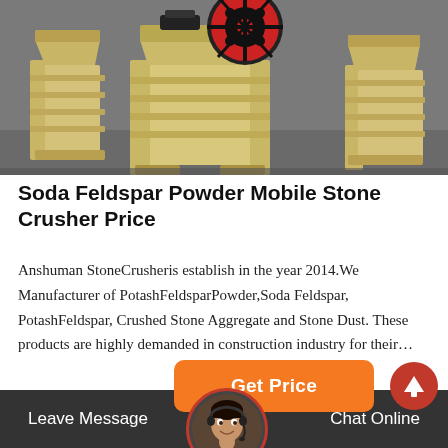[Figure (photo): Industrial stone crusher machines in yellow/cream color with red flywheel, sitting on factory floor]
Soda Feldspar Powder Mobile Stone Crusher Price
Anshuman StoneCrusheris establish in the year 2014.We Manufacturer of PotashFeldsparPowder,Soda Feldspar, PotashFeldspar, Crushed Stone Aggregate and Stone Dust. These products are highly demanded in construction industry for their…
[Figure (other): Orange 'Get Price' button]
[Figure (other): Red circle with white up arrow icon]
[Figure (photo): Customer service avatar - woman with headset in red-bordered circle]
Leave Message   Chat Online